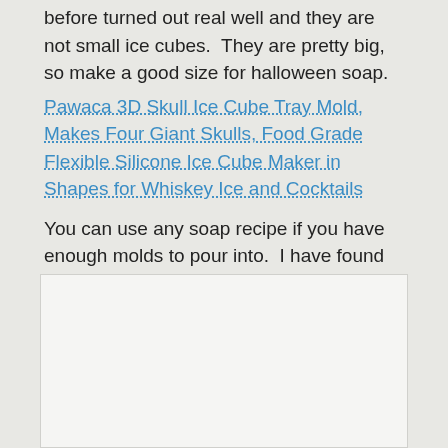before turned out real well and they are not small ice cubes.  They are pretty big, so make a good size for halloween soap.
Pawaca 3D Skull Ice Cube Tray Mold, Makes Four Giant Skulls, Food Grade Flexible Silicone Ice Cube Maker in Shapes for Whiskey Ice and Cocktails
You can use any soap recipe if you have enough molds to pour into.  I have found that with cold process soap recipe, pouring into smaller molds you may end up with more soda ash on top of the soap.  Simply wash it off and your soap will be fine.
[Figure (photo): A photo/image placeholder box with light grey background]